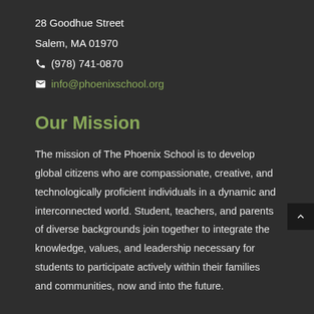28 Goodhue Street
Salem, MA 01970
☎ (978) 741-0870
✉ info@phoenixschool.org
Our Mission
The mission of The Phoenix School is to develop global citizens who are compassionate, creative, and technologically proficient individuals in a dynamic and interconnected world. Student, teachers, and parents of diverse backgrounds join together to integrate the knowledge, values, and leadership necessary for students to participate actively within their families and communities, now and into the future.